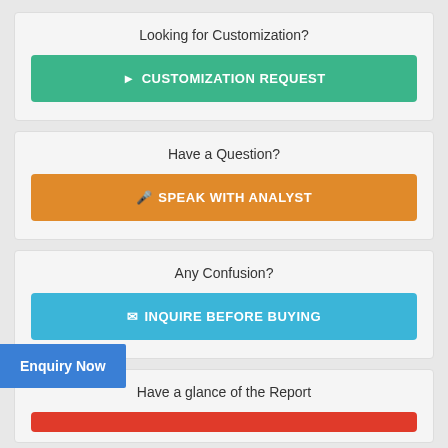Looking for Customization?
CUSTOMIZATION REQUEST
Have a Question?
SPEAK WITH ANALYST
Any Confusion?
INQUIRE BEFORE BUYING
Enquiry Now
Have a glance of the Report